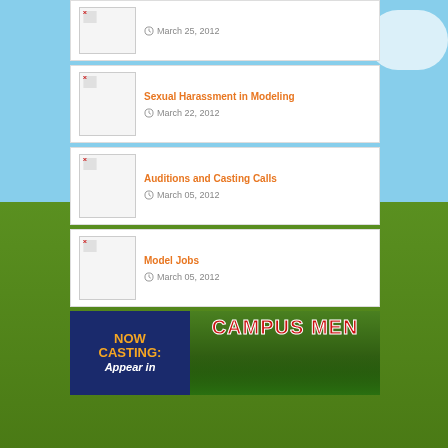March 25, 2012
Sexual Harassment in Modeling — March 22, 2012
Auditions and Casting Calls — March 05, 2012
Model Jobs — March 05, 2012
[Figure (photo): NOW CASTING: Appear in — CAMPUS MEN banner advertisement]